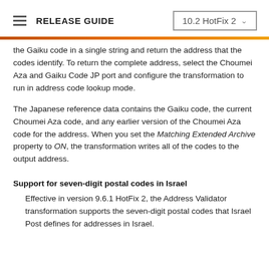RELEASE GUIDE   10.2 HotFix 2
the Gaiku code in a single string and return the address that the codes identify. To return the complete address, select the Choumei Aza and Gaiku Code JP port and configure the transformation to run in address code lookup mode.
The Japanese reference data contains the Gaiku code, the current Choumei Aza code, and any earlier version of the Choumei Aza code for the address. When you set the Matching Extended Archive property to ON, the transformation writes all of the codes to the output address.
Support for seven-digit postal codes in Israel
Effective in version 9.6.1 HotFix 2, the Address Validator transformation supports the seven-digit postal codes that Israel Post defines for addresses in Israel.